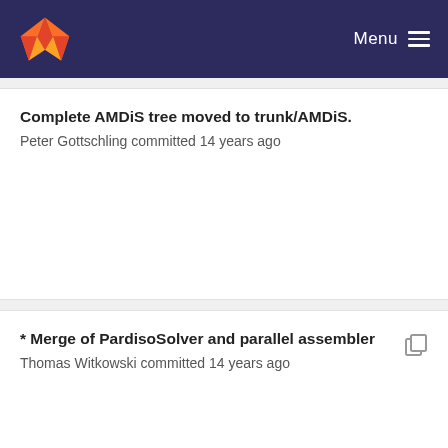Menu
Complete AMDiS tree moved to trunk/AMDiS.
Peter Gottschling committed 14 years ago
* Merge of PardisoSolver and parallel assembler
Thomas Witkowski committed 14 years ago
Complete AMDiS tree moved to trunk/AMDiS.
Peter Gottschling committed 14 years ago